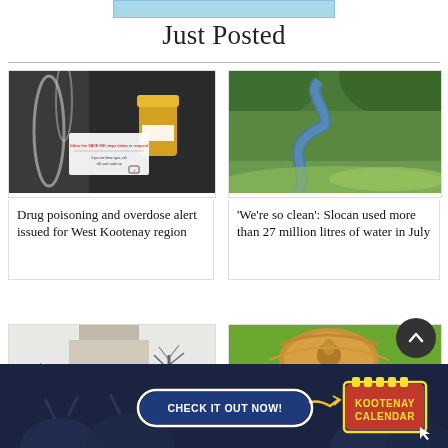[Figure (other): Light blue advertisement banner at top of page]
Just Posted
[Figure (photo): Photo of drug use supplies including tubing, a prescription pill bottle, and a SAVE ME card on a dark background]
Drug poisoning and overdose alert issued for West Kootenay region
[Figure (photo): Aerial photo of Slocan valley with a river winding through green forested landscape]
'We're so clean': Slocan used more than 27 million litres of water in July
[Figure (photo): Partially visible photo of a building with bare trees in winter]
[Figure (photo): Partially visible photo of a wild turkey on green grass]
[Figure (other): Kootenay Calendar advertisement banner with dark blue background, CHECK IT OUT NOW button, and red calendar logo with yellow text]